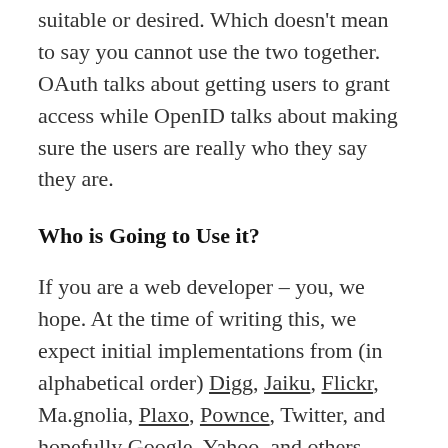suitable or desired. Which doesn't mean to say you cannot use the two together. OAuth talks about getting users to grant access while OpenID talks about making sure the users are really who they say they are.
Who is Going to Use it?
If you are a web developer – you, we hope. At the time of writing this, we expect initial implementations from (in alphabetical order) Digg, Jaiku, Flickr, Ma.gnolia, Plaxo, Pownce, Twitter, and hopefully Google, Yahoo, and others